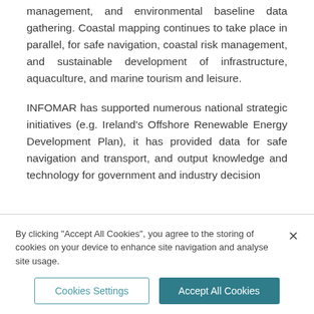management, and environmental baseline data gathering. Coastal mapping continues to take place in parallel, for safe navigation, coastal risk management, and sustainable development of infrastructure, aquaculture, and marine tourism and leisure.
INFOMAR has supported numerous national strategic initiatives (e.g. Ireland's Offshore Renewable Energy Development Plan), it has provided data for safe navigation and transport, and output knowledge and technology for government and industry decision
By clicking "Accept All Cookies", you agree to the storing of cookies on your device to enhance site navigation and analyse site usage.